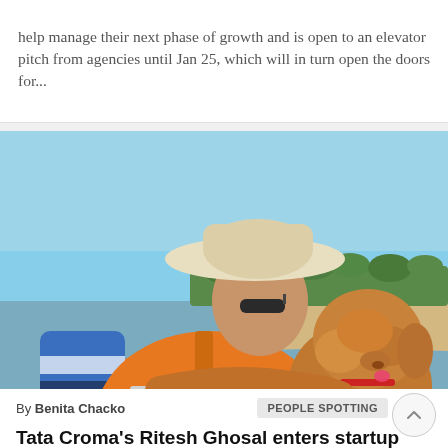help manage their next phase of growth and is open to an elevator pitch from agencies until Jan 25, which will in turn open the doors for...
[Figure (photo): A man wearing a wide-brimmed hat, sunglasses, and an orange life jacket holds a fluffy golden-brown dog while on a boat on a river. Trees and a sandy bank are visible in the background under a blue sky.]
By Benita Chacko
PEOPLE SPOTTING
Tata Croma's Ritesh Ghosal enters startup space; joins natural wellness and consumer insight firms
He will have small stakes in these firms and will